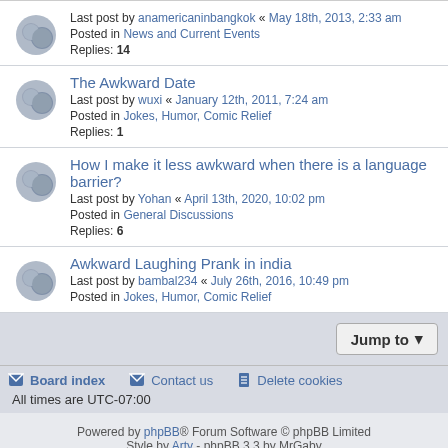Last post by anamericaninbangkok « May 18th, 2013, 2:33 am
Posted in News and Current Events
Replies: 14
The Awkward Date
Last post by wuxi « January 12th, 2011, 7:24 am
Posted in Jokes, Humor, Comic Relief
Replies: 1
How I make it less awkward when there is a language barrier?
Last post by Yohan « April 13th, 2020, 10:02 pm
Posted in General Discussions
Replies: 6
Awkward Laughing Prank in india
Last post by bambal234 « July 26th, 2016, 10:49 pm
Posted in Jokes, Humor, Comic Relief
Jump to
Board index | Contact us | Delete cookies | All times are UTC-07:00
Powered by phpBB® Forum Software © phpBB Limited
Style by Arty - phpBB 3.3 by MrGaby
Privacy | Terms